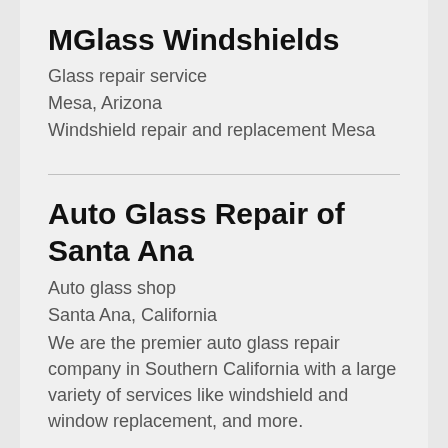MGlass Windshields
Glass repair service
Mesa, Arizona
Windshield repair and replacement Mesa
Auto Glass Repair of Santa Ana
Auto glass shop
Santa Ana, California
We are the premier auto glass repair company in Southern California with a large variety of services like windshield and window replacement, and more.